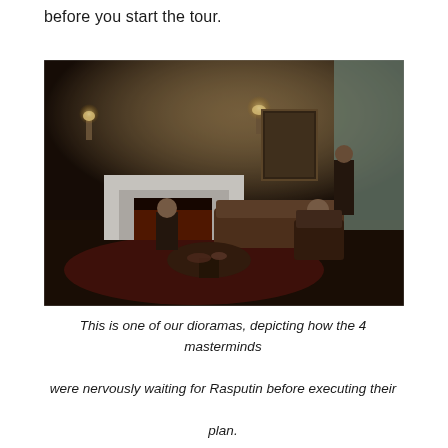before you start the tour.
[Figure (photo): Interior photograph of a diorama depicting a dark Victorian-style room with wallpaper, a white fireplace mantel, wall sconces with candles, a sofa, armchairs, a round table with items on it, framed portrait on the wall, and draped curtains. Four mannequin figures of men are arranged in the room as if waiting.]
This is one of our dioramas, depicting how the 4 masterminds were nervously waiting for Rasputin before executing their plan.